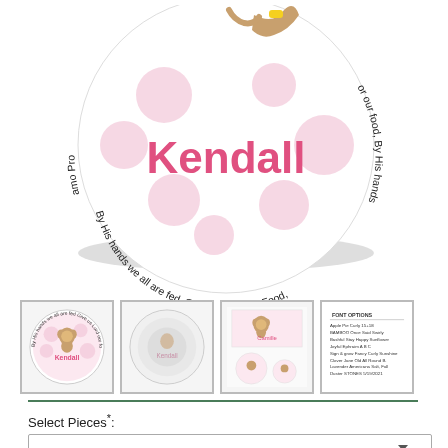[Figure (photo): Personalized children's plate with pink polka dot design, a monkey illustration, and the name 'Kendall' in pink text. A circular prayer text runs around the border of the plate.]
[Figure (photo): Four product thumbnail images: (1) round plate with monkey and 'Kendall' text, (2) plain white round plate, (3) matching cup and plate set labeled 'Camille', (4) product options/features text chart]
Select Pieces*:
Enter Name*: